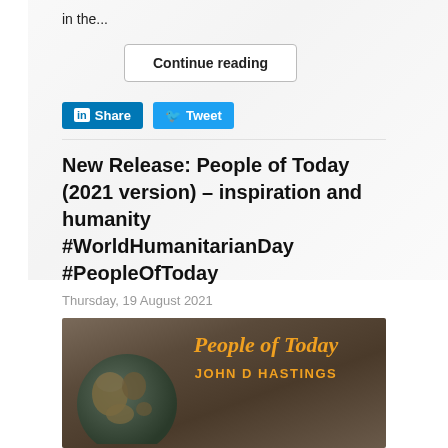in the...
Continue reading
[Figure (infographic): LinkedIn Share button and Twitter Tweet button]
New Release: People of Today (2021 version) – inspiration and humanity #WorldHumanitarianDay #PeopleOfToday
Thursday, 19 August 2021
[Figure (photo): Book cover for 'People of Today' by John D Hastings, showing a globe against a dark background with orange text]